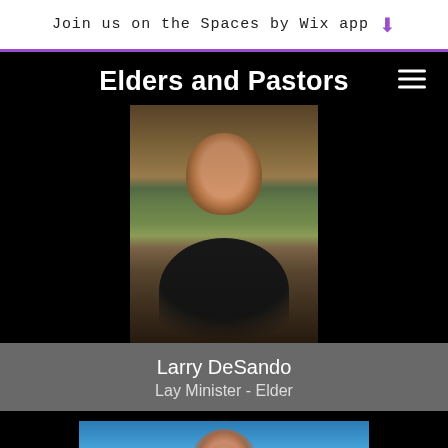Join us on the Spaces by Wix app
Elders and Pastors
[Figure (photo): Portrait photo of Larry DeSando, a middle-aged bald man with a grey goatee wearing a dark floral shirt, photographed outdoors under a wooden structure with stone wall in background]
Larry DeSando
Lay Minister - Elder
[Figure (photo): Portrait photo of a man with glasses and dark beard against a blue background, partially visible, cropped at bottom of page]